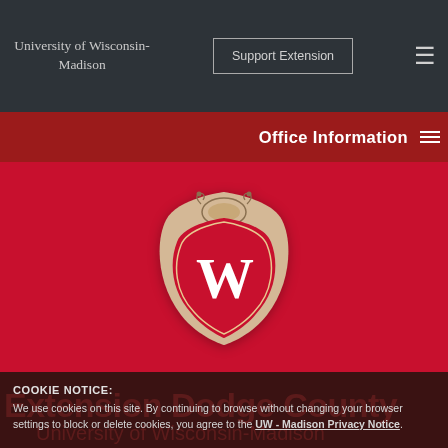University of Wisconsin-Madison
Support Extension
Office Information
[Figure (logo): University of Wisconsin-Madison shield/crest logo with W on red background, beige ornate border]
COOKIE NOTICE: We use cookies on this site. By continuing to browse without changing your browser settings to block or delete cookies, you agree to the UW - Madison Privacy Notice.
Extension Dodge County University of Wisconsin-Madison
Search...
GOT IT!